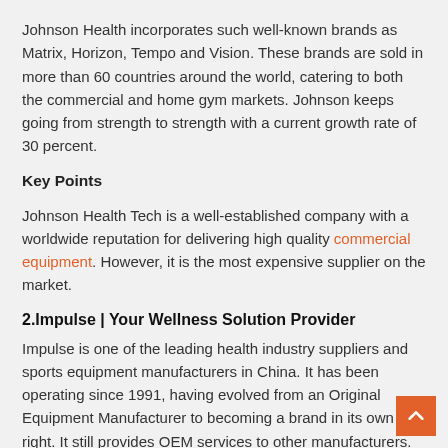Johnson Health incorporates such well-known brands as Matrix, Horizon, Tempo and Vision. These brands are sold in more than 60 countries around the world, catering to both the commercial and home gym markets. Johnson keeps going from strength to strength with a current growth rate of 30 percent.
Key Points
Johnson Health Tech is a well-established company with a worldwide reputation for delivering high quality commercial equipment. However, it is the most expensive supplier on the market.
2.Impulse | Your Wellness Solution Provider
Impulse is one of the leading health industry suppliers and sports equipment manufacturers in China. It has been operating since 1991, having evolved from an Original Equipment Manufacturer to becoming a brand in its own right. It still provides OEM services to other manufacturers. However, the majority of its equipment is